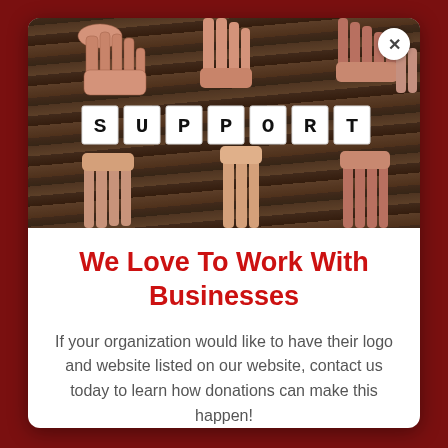[Figure (photo): Overhead photo of multiple hands arranging white letter tiles spelling SUPPORT on a dark wooden table surface]
We Love To Work With Businesses
If your organization would like to have their logo and website listed on our website, contact us today to learn how donations can make this happen!